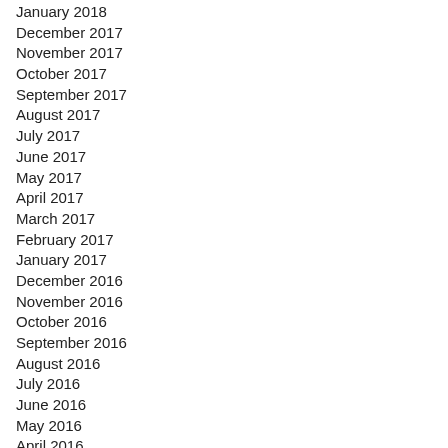January 2018
December 2017
November 2017
October 2017
September 2017
August 2017
July 2017
June 2017
May 2017
April 2017
March 2017
February 2017
January 2017
December 2016
November 2016
October 2016
September 2016
August 2016
July 2016
June 2016
May 2016
April 2016
March 2016
February 2016
January 2016